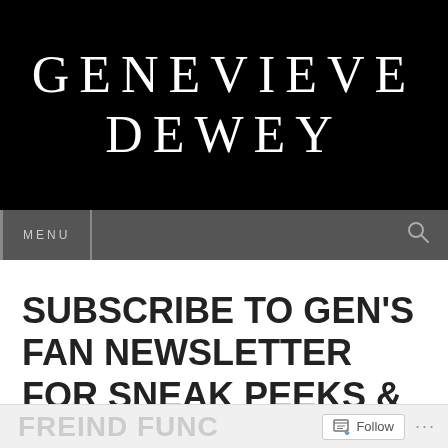GENEVIEVE DEWEY
MENU
SUBSCRIBE TO GEN'S FAN NEWSLETTER FOR SNEAK PEEKS & SPECIAL
Follow